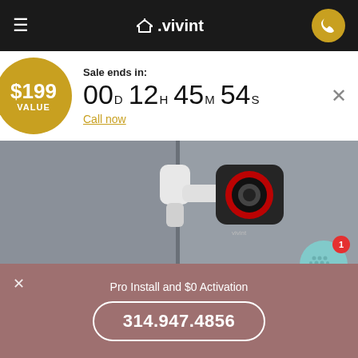Vivint – navigation header with hamburger menu, logo, and phone button
$199 VALUE – Sale ends in: 00D 12H 45M 54S – Call now
[Figure (photo): Vivint outdoor security camera mounted on a wall, white body with black face and red LED ring around lens]
Pro Install and $0 Activation – 314.947.4856